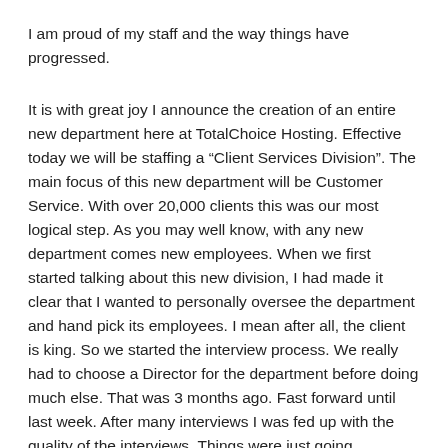I am proud of my staff and the way things have progressed.
It is with great joy I announce the creation of an entire new department here at TotalChoice Hosting. Effective today we will be staffing a "Client Services Division". The main focus of this new department will be Customer Service. With over 20,000 clients this was our most logical step. As you may well know, with any new department comes new employees. When we first started talking about this new division, I had made it clear that I wanted to personally oversee the department and hand pick its employees. I mean after all, the client is king. So we started the interview process. We really had to choose a Director for the department before doing much else. That was 3 months ago. Fast forward until last week. After many interviews I was fed up with the quality of the interviews. Things were just going nowhere. When you build your business on a solid foundation of employees and contractors, things just have a way of turning out good.